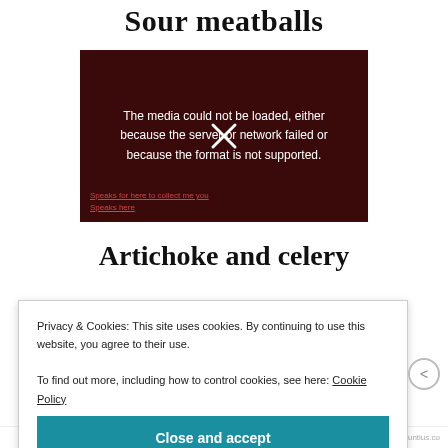Sour meatballs
[Figure (screenshot): Video player showing error message: 'The media could not be loaded, either because the server or network failed or because the format is not supported.' with an X icon overlay on a dark red background. Below are faint text links.]
Artichoke and celery
Privacy & Cookies: This site uses cookies. By continuing to use this website, you agree to their use.
To find out more, including how to control cookies, see here: Cookie Policy
Close and accept